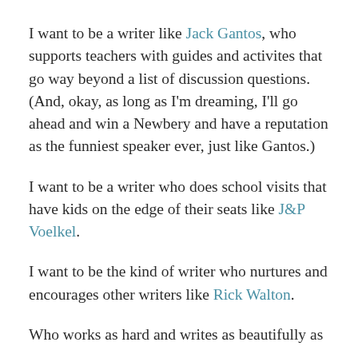I want to be a writer like Jack Gantos, who supports teachers with guides and activites that go way beyond a list of discussion questions. (And, okay, as long as I'm dreaming, I'll go ahead and win a Newbery and have a reputation as the funniest speaker ever, just like Gantos.)
I want to be a writer who does school visits that have kids on the edge of their seats like J&P Voelkel.
I want to be the kind of writer who nurtures and encourages other writers like Rick Walton.
Who works as hard and writes as beautifully as